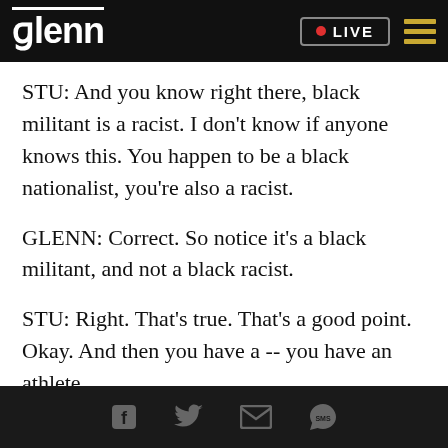glenn • LIVE
STU: And you know right there, black militant is a racist. I don't know if anyone knows this. You happen to be a black nationalist, you're also a racist.
GLENN: Correct. So notice it's a black militant, and not a black racist.
STU: Right. That's true. That's a good point. Okay. And then you have a -- you have an athlete.
GLENN: No. You have an Olympic athlete. It doesn't say what race.
Social share icons: Facebook, Twitter, Email, SMS